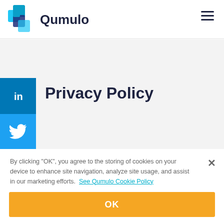[Figure (logo): Qumulo logo with teal/blue puzzle-piece icon and dark navy wordmark 'Qumulo']
Privacy Policy
By clicking "OK", you agree to the storing of cookies on your device to enhance site navigation, analyze site usage, and assist in our marketing efforts.  See Qumulo Cookie Policy
You can opt out of cookies by adjusting your cookie settings